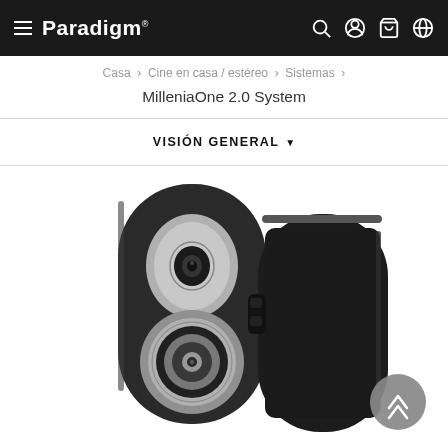Paradigm — navigation bar with hamburger menu, logo, search, account, cart, and language icons
Casa > Cine en casa / estéreo > Sistemas >
MilleniaOne 2.0 System
VISIÓN GENERAL
[Figure (photo): Two Paradigm MilleniaOne 2.0 compact satellite speakers shown side by side — one facing forward showing the driver array (tweeter and woofer), the other turned showing the side/back profile in gloss black finish.]